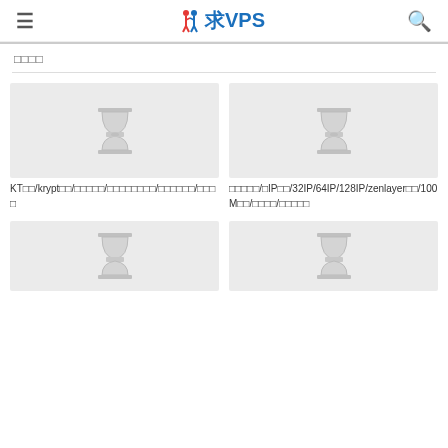≡  求VPS  🔍
□□□□
[Figure (illustration): Gray placeholder image with hourglass icon]
KT□□/krypt□□/□□□□□/□□□□□□□□/□□□□□□/□□□□
[Figure (illustration): Gray placeholder image with hourglass icon]
□□□□□/□IP□□/32IP/64IP/128IP/zenlayer□□/100M□□/□□□□/□□□□□
[Figure (illustration): Gray placeholder image with hourglass icon (partial)]
[Figure (illustration): Gray placeholder image with hourglass icon (partial)]